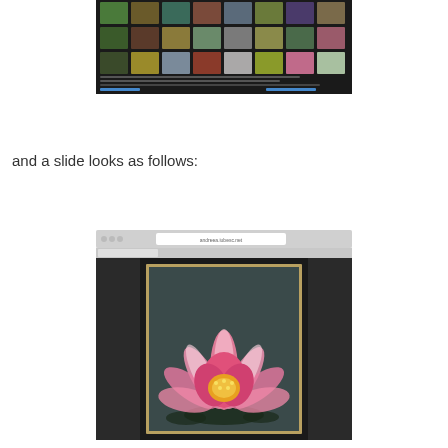[Figure (screenshot): Screenshot of a photo gallery/slideshow plugin showing a grid of nature/flower thumbnail images with code and copyright text below]
and a slide looks as follows:
[Figure (screenshot): Screenshot of a web browser on a tablet/iPad showing a large pink water lily flower displayed as a slide, with dark side panels]